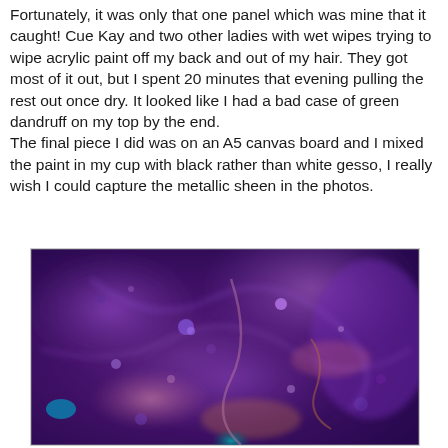Fortunately, it was only that one panel which was mine that it caught! Cue Kay and two other ladies with wet wipes trying to wipe acrylic paint off my back and out of my hair. They got most of it out, but I spent 20 minutes that evening pulling the rest out once dry. It looked like I had a bad case of green dandruff on my top by the end.
The final piece I did was on an A5 canvas board and I mixed the paint in my cup with black rather than white gesso, I really wish I could capture the metallic sheen in the photos.
[Figure (photo): A photograph of an A5 canvas board painted with acrylic pour painting technique, predominantly deep purple and violet tones with swirling patterns, pink and copper highlights, and hints of teal/turquoise. The canvas shows a metallic sheen with fluid art cell formations across the surface.]